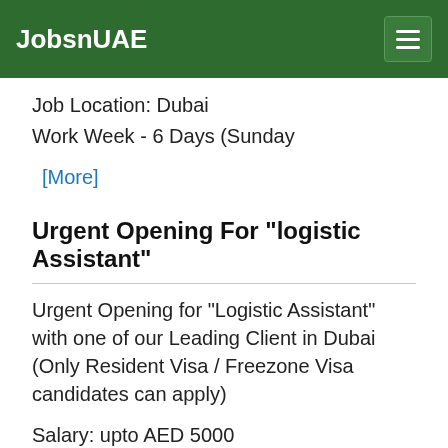JobsnUAE
Job Location: Dubai
Work Week - 6 Days (Sunday
[More]
Urgent Opening For "logistic Assistant"
Urgent Opening for "Logistic Assistant" with one of our Leading Client in Dubai (Only Resident Visa / Freezone Visa candidates can apply)
Salary: upto AED 5000
Location: Dubai - Jabel Ali
Nationality : Any